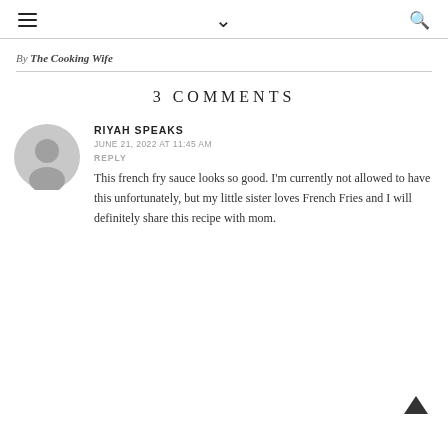≡  ∨  🔍
By The Cooking Wife
3 COMMENTS
RIYAH SPEAKS
JUNE 21, 2022 AT 11:45 AM
REPLY

This french fry sauce looks so good. I'm currently not allowed to have this unfortunately, but my little sister loves French Fries and I will definitely share this recipe with mom.